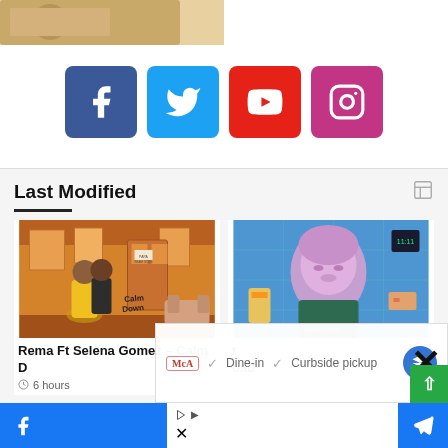[Figure (photo): Partial image visible at top, brown/orange tones]
[Figure (infographic): Social media buttons: Facebook (blue), Twitter (light blue), YouTube (red), Instagram (purple/pink)]
Last Modified
[Figure (photo): Animated illustration of two people in a train/room setting with warm orange tones, 'Calm Down' text visible]
Rema Ft Selena Gomez – Calm D
6 hours
[Figure (photo): Colorful album art with a sculptural figure in teal/purple tones]
t oad
[Figure (infographic): Ad overlay with McA logo, checkmarks, Dine-in, Curbside pickup text, navigation icon, and X close button]